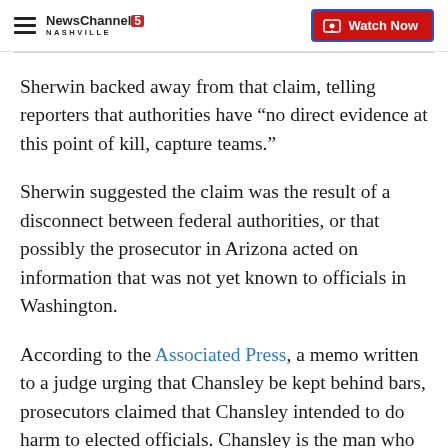NewsChannel 5 Nashville | Watch Now
Sherwin backed away from that claim, telling reporters that authorities have “no direct evidence at this point of kill, capture teams.”
Sherwin suggested the claim was the result of a disconnect between federal authorities, or that possibly the prosecutor in Arizona acted on information that was not yet known to officials in Washington.
According to the Associated Press, a memo written to a judge urging that Chansley be kept behind bars, prosecutors claimed that Chansley intended to do harm to elected officials. Chansley is the man who was seen